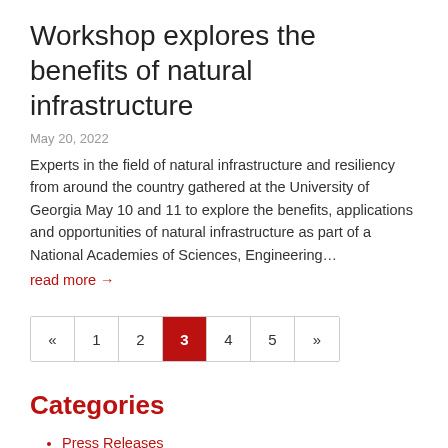Workshop explores the benefits of natural infrastructure
May 20, 2022
Experts in the field of natural infrastructure and resiliency from around the country gathered at the University of Georgia May 10 and 11 to explore the benefits, applications and opportunities of natural infrastructure as part of a National Academies of Sciences, Engineering…
read more →
[Figure (other): Pagination navigation with pages: «, 1, 2, 3 (current/active), 4, 5, »]
Categories
Press Releases
Research
CMB
ECE
ECAM